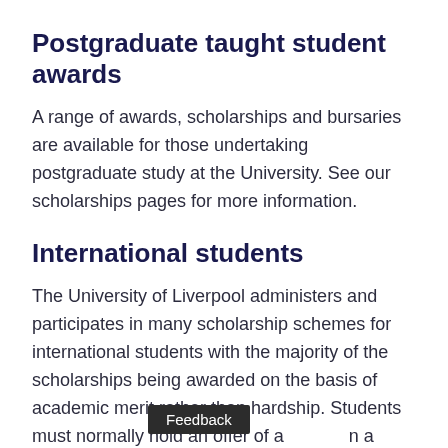Postgraduate taught student awards
A range of awards, scholarships and bursaries are available for those undertaking postgraduate study at the University. See our scholarships pages for more information.
International students
The University of Liverpool administers and participates in many scholarship schemes for international students with the majority of the scholarships being awarded on the basis of academic merit rather than hardship. Students must normally hold an offer of a place on a course before they can